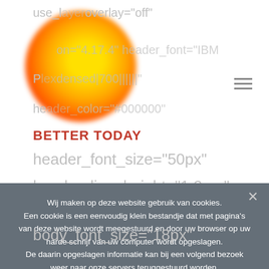[Figure (screenshot): Website header screenshot showing a sun/logo circle, brand text 'BETTER TODAY', hamburger menu icon, and partially visible configuration/code text in the background]
Wij maken op deze website gebruik van cookies.
Een cookie is een eenvoudig klein bestandje dat met pagina's van deze website wordt meegestuurd en door uw browser op uw harde schrijf van uw computer wordt opgeslagen.
De daarin opgeslagen informatie kan bij een volgend bezoek weer naar onze servers teruggestuurd worden.
Akkoord